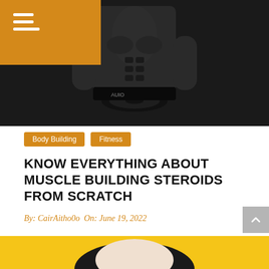[Figure (photo): Muscular shirtless man holding a weight plate in a dark gym setting]
Body Building
Fitness
KNOW EVERYTHING ABOUT MUSCLE BUILDING STEROIDS FROM SCRATCH
By: CairAitho0o  On: June 19, 2022
To all those gym-going people, wrestlers, UFC fighters, etc., I'm sure that just by reading the title you have got quite the picture in your ….
[Figure (photo): Woman with dark hair against a yellow background, partially visible at bottom of page]